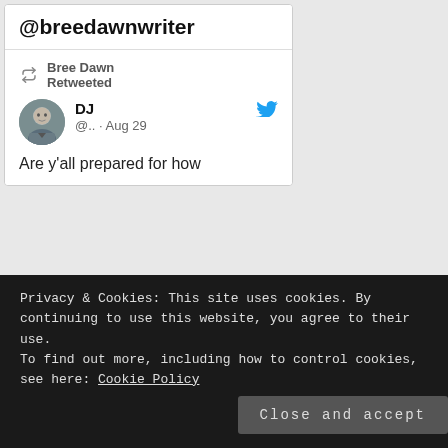@breedawnwriter
Bree Dawn Retweeted
DJ @.. · Aug 29
Are y'all prepared for how
Copyright © 2019 Bree Dawn at The Long Voyage. All rights Reserved.
Privacy & Cookies: This site uses cookies. By continuing to use this website, you agree to their use.
To find out more, including how to control cookies, see here: Cookie Policy
Close and accept